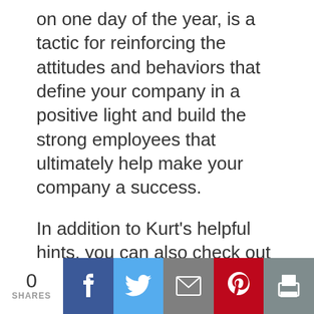on one day of the year, is a tactic for reinforcing the attitudes and behaviors that define your company in a positive light and build the strong employees that ultimately help make your company a success.
In addition to Kurt's helpful hints, you can also check out our Recognition Tool Finder and the Manager Tools sections of our web site for more great ideas for Employee Appreciation Day and beyond!
0 SHARES | Facebook | Twitter | Email | Pinterest | Print